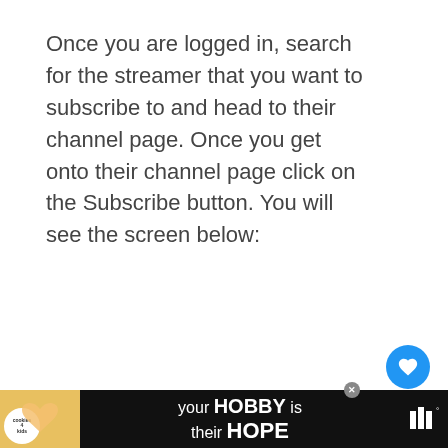Once you are logged in, search for the streamer that you want to subscribe to and head to their channel page. Once you get onto their channel page click on the Subscribe button. You will see the screen below:
[Figure (screenshot): UI elements showing a like button (blue circle with heart icon), like count of 12, share button, a 'What's Next' panel with 'How To Check If You Have...' article, and an advertisement banner at the bottom saying 'your HOBBY is their HOPE' with a cookies for kids cancer logo.]